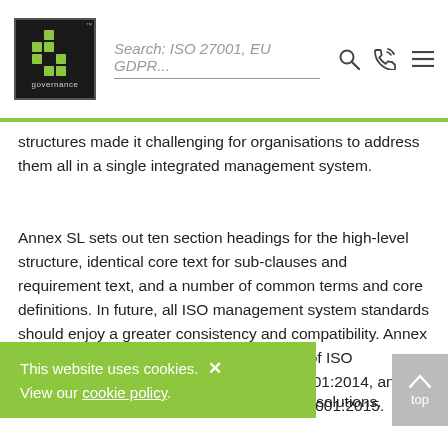IT Governance logo | Search: ISO 27001, EU GDPR...
structures made it challenging for organisations to address them all in a single integrated management system.
Annex SL sets out ten section headings for the high-level structure, identical core text for sub-clauses and requirement text, and a number of common terms and core definitions. In future, all ISO management system standards should enjoy a greater consistency and compatibility. Annex SL has already informed the development of ISO 23001:2012, ISO 27001:2013 and ISO 55001:2014, and will be incorporated into the ... and ISO 14001:2015.
... , ISO 22301 and ISO 14001 resources and solutions.
This website uses cookies. View our cookie policy.